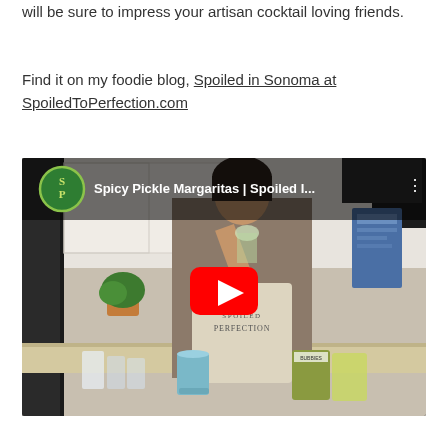will be sure to impress your artisan cocktail loving friends.
Find it on my foodie blog, Spoiled in Sonoma at SpoiledToPerfection.com
[Figure (screenshot): YouTube video thumbnail showing a woman in a Spoiled to Perfection apron in a kitchen, tasting from a glass. Title: Spicy Pickle Margaritas | Spoiled I... with a green SP logo and red play button.]